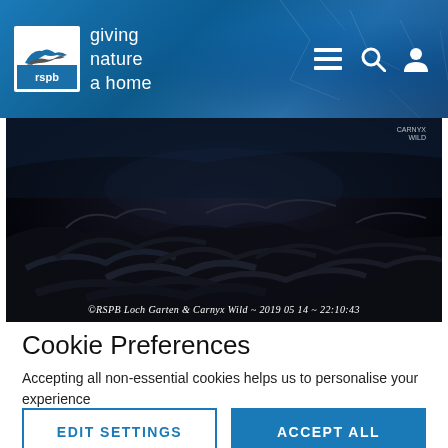rspb — giving nature a home
[Figure (photo): Night vision camera footage of an osprey nest at Loch Garten, dark image showing tangled twigs and branches. Watermark reads: ©RSPB Loch Garten & Carnyx Wild ~ 2019 05 14 ~ 22:10:43]
Cookie Preferences
Accepting all non-essential cookies helps us to personalise your experience
EDIT SETTINGS | ACCEPT ALL